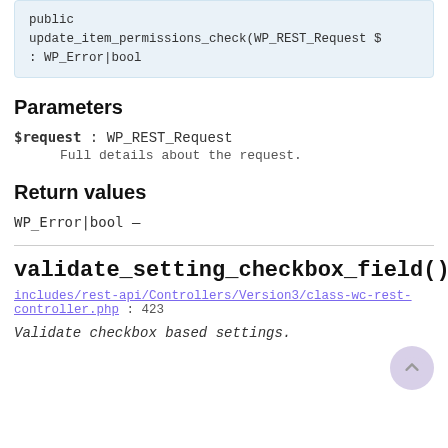public
update_item_permissions_check(WP_REST_Request $
: WP_Error|bool
Parameters
$request : WP_REST_Request
    Full details about the request.
Return values
WP_Error|bool —
validate_setting_checkbox_field()
includes/rest-api/Controllers/Version3/class-wc-rest-controller.php : 423
Validate checkbox based settings.